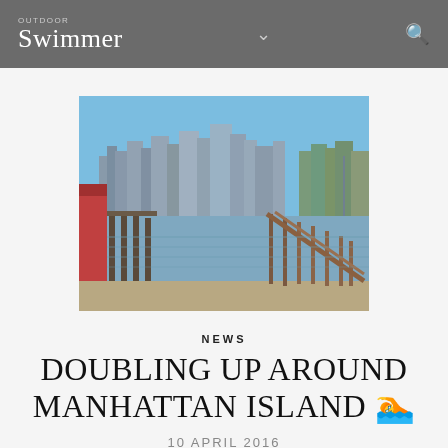OUTDOOR Swimmer
[Figure (photo): View of Manhattan skyline from a waterfront with wooden piers and dock structures in the foreground, calm water in the middle, and tall city skyscrapers under a clear blue sky in the background.]
NEWS
DOUBLING UP AROUND MANHATTAN ISLAND 🏊
10 APRIL 2016